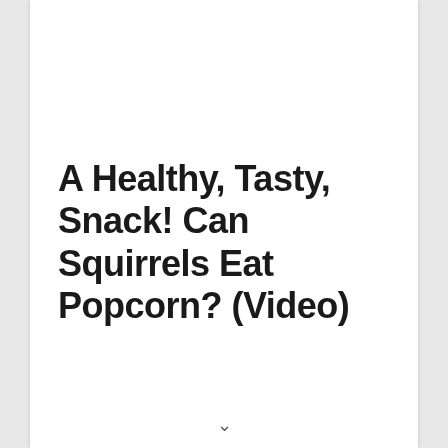A Healthy, Tasty, Snack! Can Squirrels Eat Popcorn? (Video)